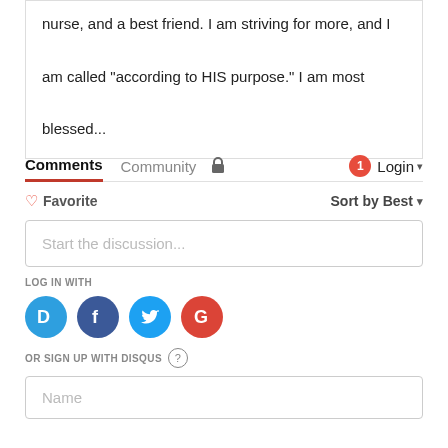nurse, and a best friend. I am striving for more, and I am called "according to HIS purpose." I am most blessed...
Comments  Community  🔒  1  Login ▾
♡ Favorite   Sort by Best ▾
Start the discussion...
LOG IN WITH
[Figure (logo): Social login icons: Disqus (D), Facebook (f), Twitter bird, Google (G)]
OR SIGN UP WITH DISQUS ?
Name